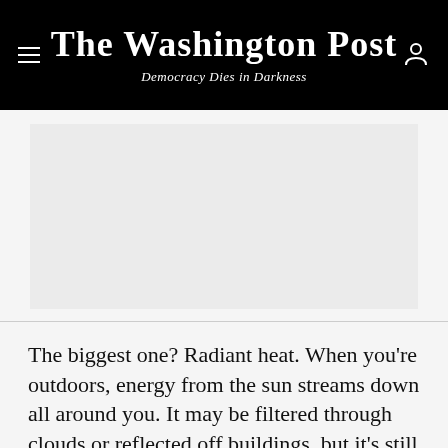The Washington Post
Democracy Dies in Darkness
[Figure (other): Gray advertisement placeholder box]
The biggest one? Radiant heat. When you're outdoors, energy from the sun streams down all around you. It may be filtered through clouds or reflected off buildings, but it's still warmth. That's why the same day may feel chilly in the shade but pleasant in the sun. It's